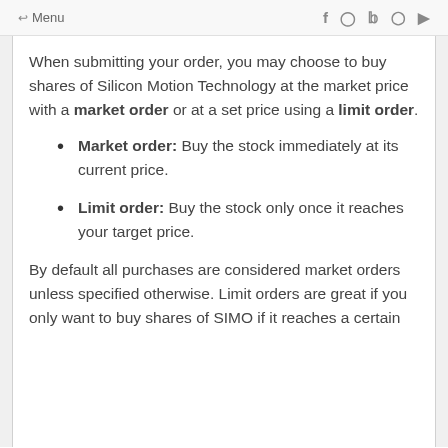← Menu  f  Instagram  Twitter  Pinterest  YouTube
When submitting your order, you may choose to buy shares of Silicon Motion Technology at the market price with a market order or at a set price using a limit order.
Market order: Buy the stock immediately at its current price.
Limit order: Buy the stock only once it reaches your target price.
By default all purchases are considered market orders unless specified otherwise. Limit orders are great if you only want to buy shares of SIMO if it reaches a certain